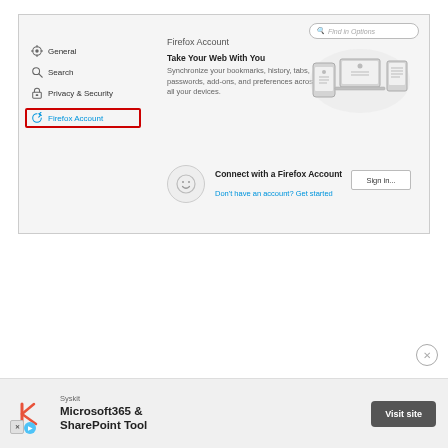[Figure (screenshot): Firefox browser settings page showing Firefox Account section. Left navigation has General, Search, Privacy & Security, and Firefox Account (highlighted with red border). Main content shows 'Firefox Account' header, 'Take Your Web With You' with sync description, device illustration, and 'Connect with a Firefox Account' section with Sign in button.]
Firefox Account
Take Your Web With You
Synchronize your bookmarks, history, tabs, passwords, add-ons, and preferences across all your devices.
Connect with a Firefox Account
Don't have an account? Get started
Sign in...
[Figure (infographic): Ad banner for Syskit Microsoft365 & SharePoint Tool with Visit site button]